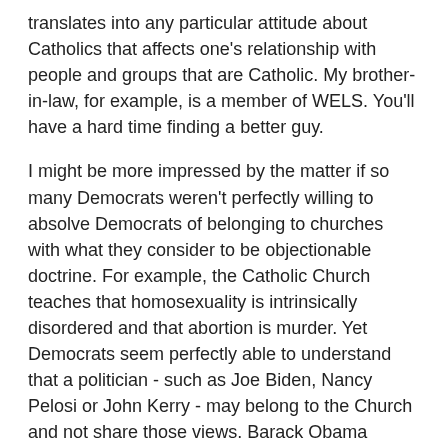translates into any particular attitude about Catholics that affects one's relationship with people and groups that are Catholic. My brother-in-law, for example, is a member of WELS. You'll have a hard time finding a better guy.
I might be more impressed by the matter if so many Democrats weren't perfectly willing to absolve Democrats of belonging to churches with what they consider to be objectionable doctrine. For example, the Catholic Church teaches that homosexuality is intrinsically disordered and that abortion is murder. Yet Democrats seem perfectly able to understand that a politician - such as Joe Biden, Nancy Pelosi or John Kerry - may belong to the Church and not share those views. Barack Obama belonged to a church headed by a race baiting, conspiracy mongering nut who he claimed was some form of father figure and transformational influence in his life, yet his supporters were perfectly able to distinguish the President from Reverend Wright.
In fact, when it comes to Democrats criticizing others for being anti-Catholic, recognition of a certain degree of irony is in order. Many on the left believe that being pro-life is to be